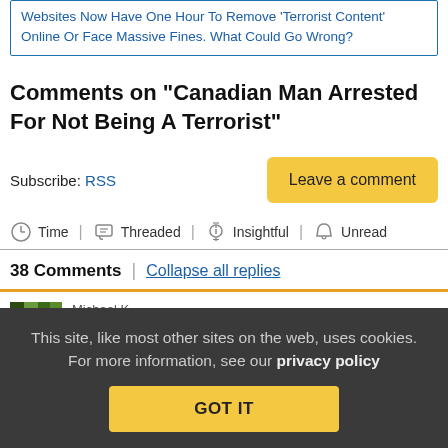Websites Now Have One Hour To Remove 'Terrorist Content' Online Or Face Massive Fines. What Could Go Wrong?
Comments on “Canadian Man Arrested For Not Being A Terrorist”
Subscribe: RSS
Leave a comment
Time | Threaded | Insightful | Unread
38 Comments | Collapse all replies
This site, like most other sites on the web, uses cookies. For more information, see our privacy policy
GOT IT